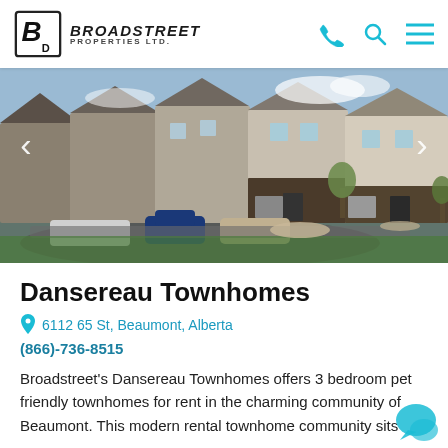Broadstreet Properties Ltd.
[Figure (photo): Exterior photo of Dansereau Townhomes showing a row of modern two-storey townhomes with dark brown and beige siding, a paved driveway, parked cars, landscaping with small trees and shrubs, and a blue sky.]
Dansereau Townhomes
6112 65 St, Beaumont, Alberta
(866)-736-8515
Broadstreet's Dansereau Townhomes offers 3 bedroom pet friendly townhomes for rent in the charming community of Beaumont. This modern rental townhome community sits